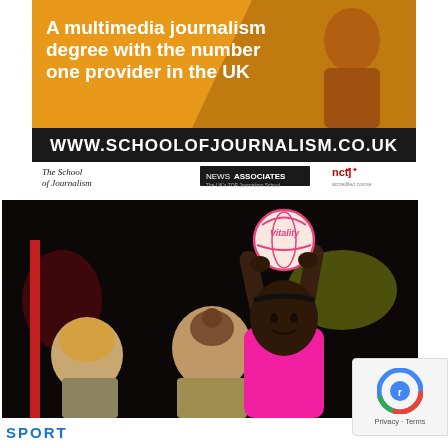[Figure (illustration): Advertisement banner for The School of Journalism. Orange top section with text 'A multimedia journalism degree with the number one provider in the UK'. Black bar with URL 'WWW.SCHOOLOFJOURNALISM.CO.UK'. White footer with 'The School of Journalism', 'NEWS ASSOCIATES' logo, and 'nctj' accreditation logo.]
[Figure (photo): Sports action photo of a netball match. A player in a bright pink jersey holds a netball above her head preparing to shoot. Two opposing players in the foreground face away from camera. Dark arena background.]
SPORT